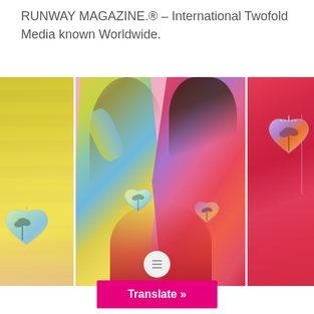RUNWAY MAGAZINE.® – International Twofold Media known Worldwide.
[Figure (photo): Fashion editorial photo spread showing three panels: left panel with yellow/green tie-dye garment and heart-shaped bag, center panel with two models in colorful tie-dye outfits against a pink background, right panel close-up of red/orange tie-dye outfit with heart-shaped bag.]
Translate »